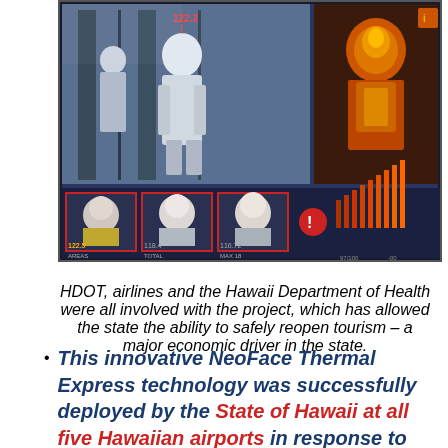[Figure (photo): A thermal imaging screen showing face detection of airport passengers. The screen displays a main camera view of people in the airport area with a temperature reading of 122.2, and three smaller face thumbnails at the bottom with thermal imaging overlays and temperature data. A bar graph is visible on the right side of the screen.]
HDOT, airlines and the Hawaii Department of Health were all involved with the project, which has allowed the state the ability to safely reopen tourism – a major economic driver in the state.
This innovative NeoFace Thermal Express technology was successfully deployed by the State of Hawaii at all five Hawaiian airports in response to the COVID-19 global pandemic, to